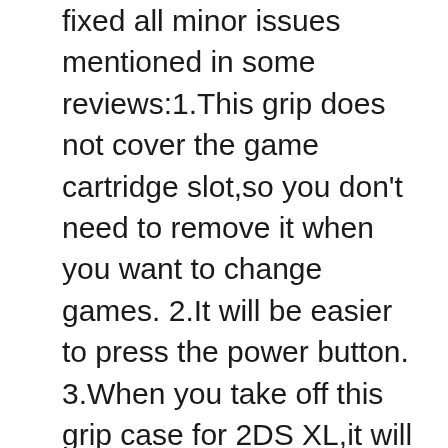fixed all minor issues mentioned in some reviews:1.This grip does not cover the game cartridge slot,so you don't need to remove it when you want to change games. 2.It will be easier to press the power button. 3.When you take off this grip case for 2DS XL,it will not leave marks on the 2DS XL.It will be easy to remove from your 2DS XL. 4.You will get a upper clear case for your console.So your New 2DS XL will get best protection.
Special Design: Unlike a lot of hand grips for 2DS XL...As per this fl...